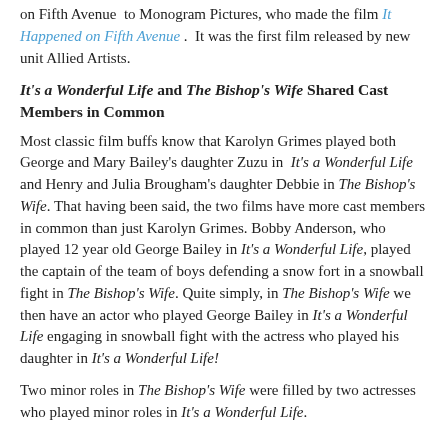on Fifth Avenue to Monogram Pictures, who made the film It Happened on Fifth Avenue.  It was the first film released by new unit Allied Artists.
It's a Wonderful Life and The Bishop's Wife Shared Cast Members in Common
Most classic film buffs know that Karolyn Grimes played both George and Mary Bailey's daughter Zuzu in It's a Wonderful Life and Henry and Julia Brougham's daughter Debbie in The Bishop's Wife. That having been said, the two films have more cast members in common than just Karolyn Grimes. Bobby Anderson, who played 12 year old George Bailey in It's a Wonderful Life, played the captain of the team of boys defending a snow fort in a snowball fight in The Bishop's Wife. Quite simply, in The Bishop's Wife we then have an actor who played George Bailey in It's a Wonderful Life engaging in snowball fight with the actress who played his daughter in It's a Wonderful Life!
Two minor roles in The Bishop's Wife were filled by two actresses who played minor roles in It's a Wonderful Life.